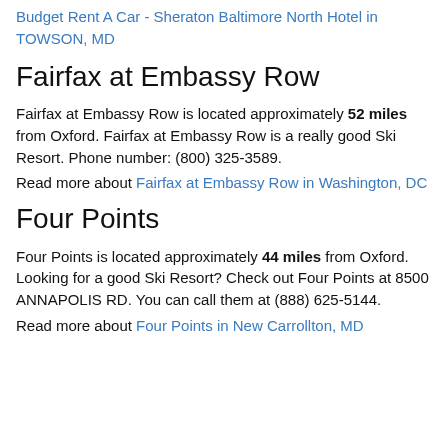Read more about Budget Rent A Car - Sheraton Baltimore North Hotel in TOWSON, MD
Fairfax at Embassy Row
Fairfax at Embassy Row is located approximately 52 miles from Oxford. Fairfax at Embassy Row is a really good Ski Resort. Phone number: (800) 325-3589.
Read more about Fairfax at Embassy Row in Washington, DC
Four Points
Four Points is located approximately 44 miles from Oxford. Looking for a good Ski Resort? Check out Four Points at 8500 ANNAPOLIS RD. You can call them at (888) 625-5144.
Read more about Four Points in New Carrollton, MD